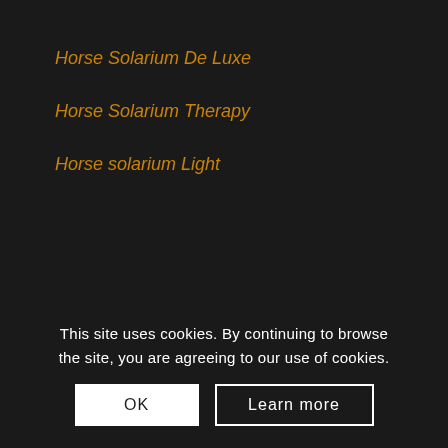Horse Solarium De Luxe
Horse Solarium Therapy
Horse solarium Light
shape.
Our horse solarium is delivered ready to plug in, which means that all electrics are installed and tested. All you need is a CEE 380 V outlet and 16 A (with a slow blow fuse).
This site uses cookies. By continuing to browse the site, you are agreeing to our use of cookies.